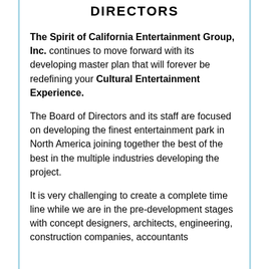DIRECTORS
The Spirit of California Entertainment Group, Inc. continues to move forward with its developing master plan that will forever be redefining your Cultural Entertainment Experience.
The Board of Directors and its staff are focused on developing the finest entertainment park in North America joining together the best of the best in the multiple industries developing the project.
It is very challenging to create a complete time line while we are in the pre-development stages with concept designers, architects, engineering, construction companies, accountants